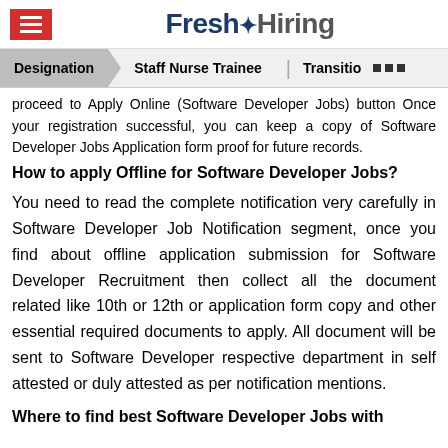Fresh Hiring
Designation | Staff Nurse Trainee | Transitio ...
proceed to Apply Online (Software Developer Jobs) button Once your registration successful, you can keep a copy of Software Developer Jobs Application form proof for future records.
How to apply Offline for Software Developer Jobs?
You need to read the complete notification very carefully in Software Developer Job Notification segment, once you find about offline application submission for Software Developer Recruitment then collect all the document related like 10th or 12th or application form copy and other essential required documents to apply. All document will be sent to Software Developer respective department in self attested or duly attested as per notification mentions.
Where to find best Software Developer Jobs with